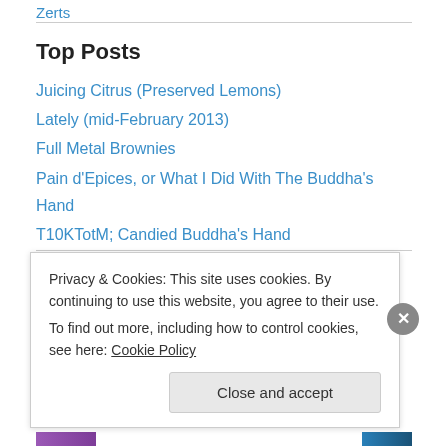Zerts
Top Posts
Juicing Citrus (Preserved Lemons)
Lately (mid-February 2013)
Full Metal Brownies
Pain d'Epices, or What I Did With The Buddha's Hand
T10KTotM; Candied Buddha's Hand
Agave nectar Alaska Almond butter Apples Apricots Arame Basil Beans
Privacy & Cookies: This site uses cookies. By continuing to use this website, you agree to their use. To find out more, including how to control cookies, see here: Cookie Policy
Close and accept